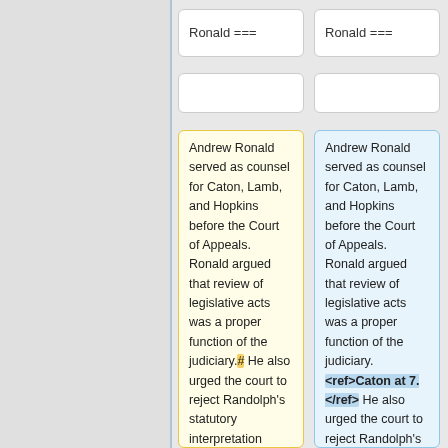Ronald ===
Ronald ===
Andrew Ronald served as counsel for Caton, Lamb, and Hopkins before the Court of Appeals. Ronald argued that review of legislative acts was a proper function of the judiciary.# He also urged the court to reject Randolph's statutory interpretation arguments because the
Andrew Ronald served as counsel for Caton, Lamb, and Hopkins before the Court of Appeals. Ronald argued that review of legislative acts was a proper function of the judiciary. <ref>Caton at 7.</ref> He also urged the court to reject Randolph's statutory interpretation